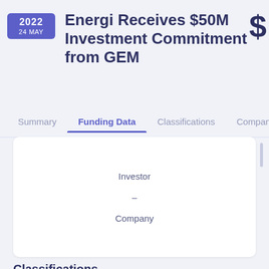Energi Receives $50M Investment Commitment from GEM
Funding Data
| Investor | Company |
| --- | --- |
| - |  |
Classifications
Core Activities
Human Resources